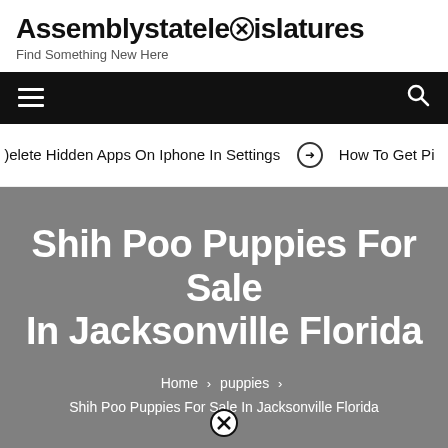Assemblystatelegislatures
Find Something New Here
delete Hidden Apps On Iphone In Settings  ➤  How To Get Pi
Shih Poo Puppies For Sale In Jacksonville Florida
Home › puppies › Shih Poo Puppies For Sale In Jacksonville Florida